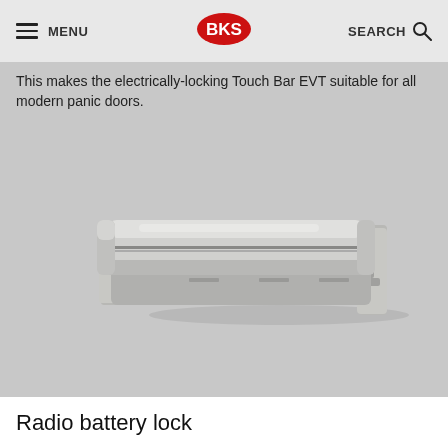MENU | BKS | SEARCH
This makes the electrically-locking Touch Bar EVT suitable for all modern panic doors.
[Figure (photo): Product photo of a stainless steel touch bar / panic bar EVT shown diagonally, with mounting bracket on the right side. Silver/brushed metal finish.]
Radio battery lock